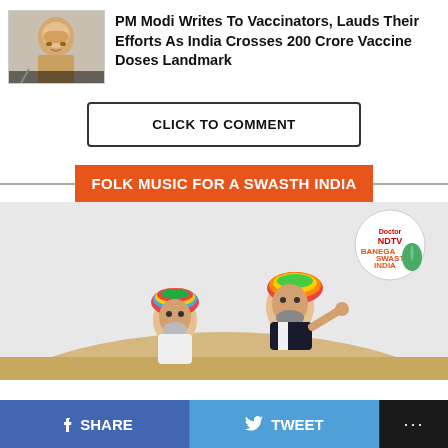PM Modi Writes To Vaccinators, Lauds Their Efforts As India Crosses 200 Crore Vaccine Doses Landmark
CLICK TO COMMENT
FOLK MUSIC FOR A SWASTH INDIA
[Figure (photo): Two men in colorful Rajasthani turbans performing folk music in a desert setting, with a Banega Swasth India NDTV logo badge in the top right corner]
SHARE  TWEET  ...